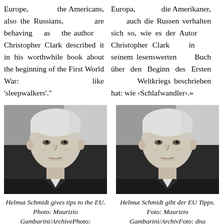Europe, the Americans, also the Russians, are behaving as the author Christopher Clark described it in his worthwhile book about the beginning of the First World War: like 'sleepwalkers'."
Europa, die Amerikaner, auch die Russen verhalten sich so, wie es der Autor Christopher Clark in seinem lesenswerten Buch über den Beginn des Ersten Weltkriegs beschrieben hat: wie ‹Schlafwandler›.»
[Figure (photo): Black and white photo of an elderly man (Helmut Schmidt) looking to the upper right, formal attire, blurred background]
Helmut Schmidt gives tips to the EU. Photo: Maurizio Gambarini/ArchivePhoto:
[Figure (photo): Black and white photo of an elderly man (Helmut Schmidt) looking to the upper right, formal attire, blurred background - German language version]
Helmut Schmidt gibt der EU Tipps. Foto: Maurizio Gambarini/ArchivFoto: dna